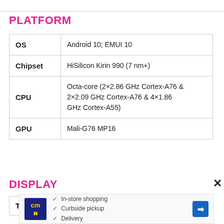PLATFORM
|  |  |
| --- | --- |
| OS | Android 10; EMUI 10 |
| Chipset | HiSilicon Kirin 990 (7 nm+) |
| CPU | Octa-core (2×2.86 GHz Cortex-A76 & 2×2.09 GHz Cortex-A76 & 4×1.86 GHz Cortex-A55) |
| GPU | Mali-G76 MP16 |
DISPLAY
|  |  |
| --- | --- |
| Te… | … |
[Figure (infographic): Advertisement overlay showing: cm logo, In-store shopping, Curbside pickup, Delivery checkmarks, and a blue navigation arrow icon]